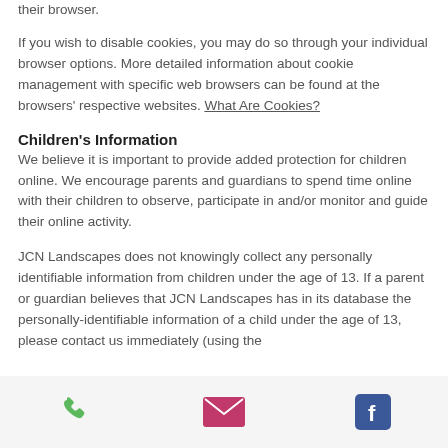their browser.
If you wish to disable cookies, you may do so through your individual browser options. More detailed information about cookie management with specific web browsers can be found at the browsers' respective websites. What Are Cookies?
Children's Information
We believe it is important to provide added protection for children online. We encourage parents and guardians to spend time online with their children to observe, participate in and/or monitor and guide their online activity.
JCN Landscapes does not knowingly collect any personally identifiable information from children under the age of 13. If a parent or guardian believes that JCN Landscapes has in its database the personally-identifiable information of a child under the age of 13, please contact us immediately (using the
phone | email | facebook